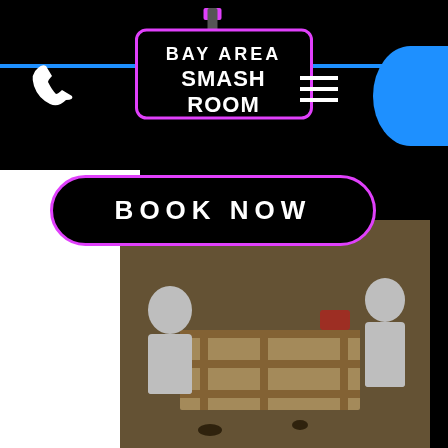[Figure (logo): Bay Area Smash Room logo with hammer graphic and graffiti-style lettering on black background]
[Figure (photo): People in white protective suits smashing items in a smash room with wooden pallets visible]
BOOK NOW
Smash Date Night
(Up to 2 People)
- 20 Plates - Three Premium Electronics (Gaming Consoles, Monitors, Printers, ETC) - Three Smaller Electronics (Office Phones, Keyboards, Speakers, ETC) - Tractor Tire - Small Furniture, ETC -
30 min